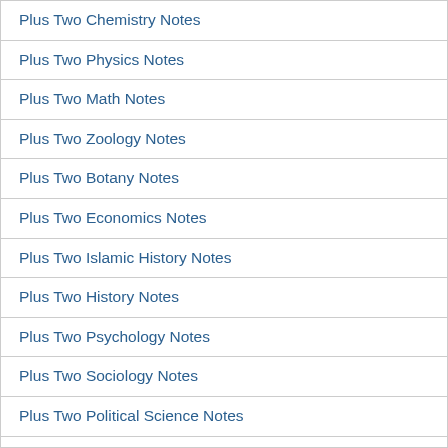Plus Two Chemistry Notes
Plus Two Physics Notes
Plus Two Math Notes
Plus Two Zoology Notes
Plus Two Botany Notes
Plus Two Economics Notes
Plus Two Islamic History Notes
Plus Two History Notes
Plus Two Psychology Notes
Plus Two Sociology Notes
Plus Two Political Science Notes
Plus Two Geography Notes
Plus Two Accountancy Notes
Plus Two Business Studies Notes
Plus Two English Notes